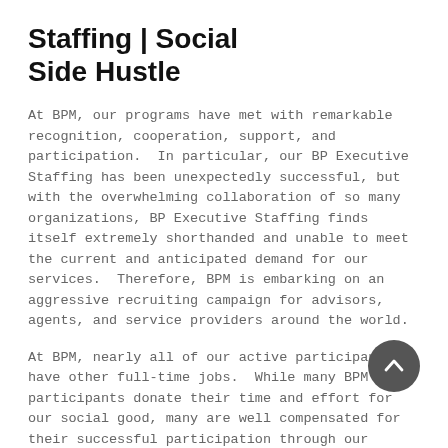Staffing  |  Social Side Hustle
At BPM, our programs have met with remarkable recognition, cooperation, support, and participation.  In particular, our BP Executive Staffing has been unexpectedly successful, but with the overwhelming collaboration of so many organizations, BP Executive Staffing finds itself extremely shorthanded and unable to meet the current and anticipated demand for our services.  Therefore, BPM is embarking on an aggressive recruiting campaign for advisors, agents, and service providers around the world.
At BPM, nearly all of our active participants have other full-time jobs.  While many BPM participants donate their time and effort for our social good, many are well compensated for their successful participation through our aggressive commission programs, especially